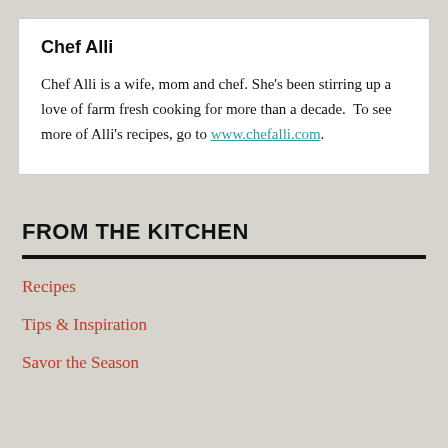Chef Alli
Chef Alli is a wife, mom and chef. She's been stirring up a love of farm fresh cooking for more than a decade.  To see more of Alli's recipes, go to www.chefalli.com.
FROM THE KITCHEN
Recipes
Tips & Inspiration
Savor the Season